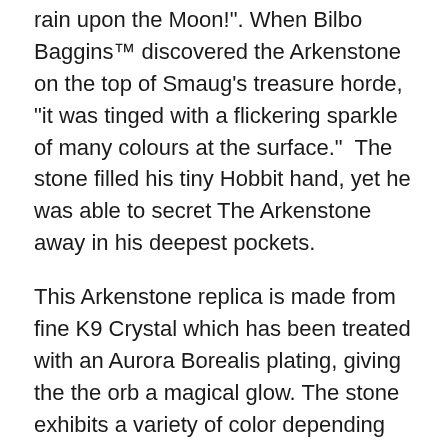rain upon the Moon!". When Bilbo Baggins™ discovered the Arkenstone on the top of Smaug's treasure horde, "it was tinged with a flickering sparkle of many colours at the surface."  The stone filled his tiny Hobbit hand, yet he was able to secret The Arkenstone away in his deepest pockets.
This Arkenstone replica is made from fine K9 Crystal which has been treated with an Aurora Borealis plating, giving the the orb a magical glow. The stone exhibits a variety of color depending on what type light its under.  The Arkenstone replica comes nestled on a black velvet pillow inside a Dwarven crafted wooden treasure chest.  The runes stamped on the name plate on top of the chest read Arkenstone, written in the same Dwarvish runes found on Thorin's Map.
The Arkenstone measures approximately 59 mm (2 5/16") in